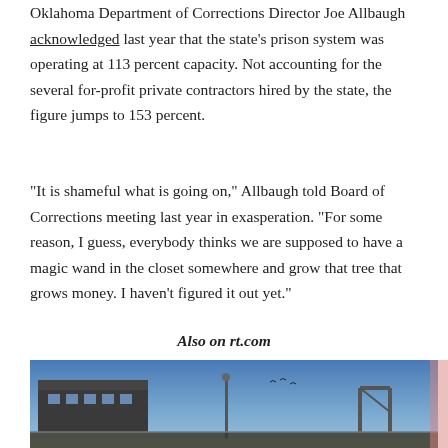Oklahoma Department of Corrections Director Joe Allbaugh acknowledged last year that the state's prison system was operating at 113 percent capacity. Not accounting for the several for-profit private contractors hired by the state, the figure jumps to 153 percent.
“It is shameful what is going on,” Allbaugh told Board of Corrections meeting last year in exasperation. “For some reason, I guess, everybody thinks we are supposed to have a magic wand in the closet somewhere and grow that tree that grows money. I haven’t figured it out yet.”
Also on rt.com
[Figure (photo): Exterior photo of a prison facility with a building, fence, and structure against a blue sky]